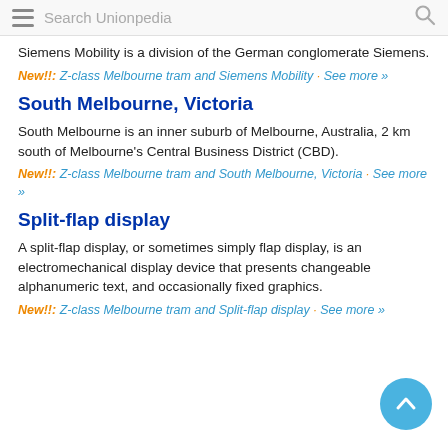Search Unionpedia
Siemens Mobility is a division of the German conglomerate Siemens.
New!!: Z-class Melbourne tram and Siemens Mobility · See more »
South Melbourne, Victoria
South Melbourne is an inner suburb of Melbourne, Australia, 2 km south of Melbourne's Central Business District (CBD).
New!!: Z-class Melbourne tram and South Melbourne, Victoria · See more »
Split-flap display
A split-flap display, or sometimes simply flap display, is an electromechanical display device that presents changeable alphanumeric text, and occasionally fixed graphics.
New!!: Z-class Melbourne tram and Split-flap display · See more »